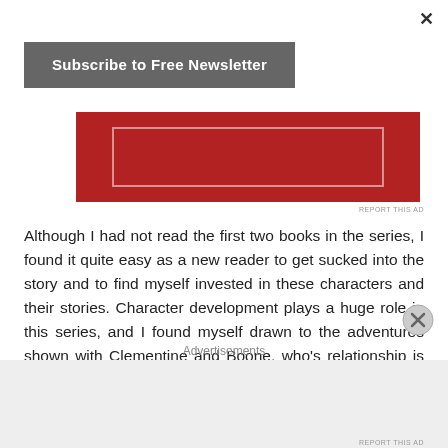×
[Figure (other): Subscribe to Free Newsletter button - dark gray rounded rectangle button with white bold text]
[Figure (other): Red advertisement banner with inner white border outline]
REPORT THIS AD
Although I had not read the first two books in the series, I found it quite easy as a new reader to get sucked into the story and to find myself invested in these characters and their stories. Character development plays a huge role in this series, and I found myself drawn to the adventures shown with Clementine and Boone, who's relationship is as interesting as the story itself. The deep cut into supernatural mythology was great as well, introducing a monstrous threat
Advertisements
REPORT THIS AD